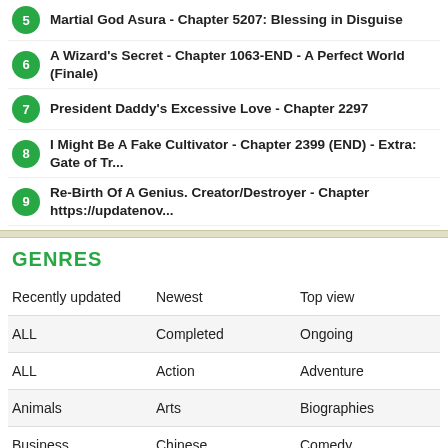5 Martial God Asura - Chapter 5207: Blessing in Disguise
6 A Wizard's Secret - Chapter 1063-END - A Perfect World (Finale)
7 President Daddy's Excessive Love - Chapter 2297
8 I Might Be A Fake Cultivator - Chapter 2399 (END) - Extra: Gate of Tr...
9 Re-Birth Of A Genius. Creator/Destroyer - Chapter https://updatenov...
GENRES
| Recently updated | Newest | Top view |
| ALL | Completed | Ongoing |
| ALL | Action | Adventure |
| Animals | Arts | Biographies |
| Business | Chinese | Comedy |